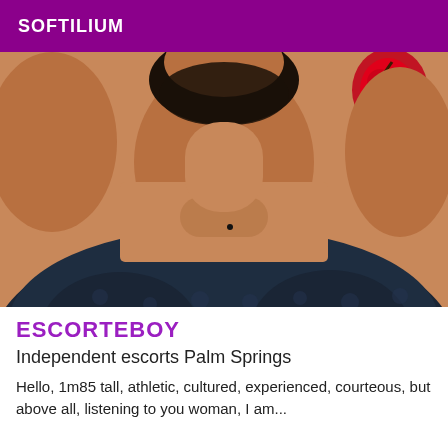SOFTILIUM
[Figure (photo): Close-up photo of a man's neck and upper chest area with short beard, wearing a dark navy/blue fleece or fuzzy garment. A red tattoo is partially visible on the right shoulder area.]
ESCORTEBOY
Independent escorts Palm Springs
Hello, 1m85 tall, athletic, cultured, experienced, courteous, but above all, listening to you woman, I am...